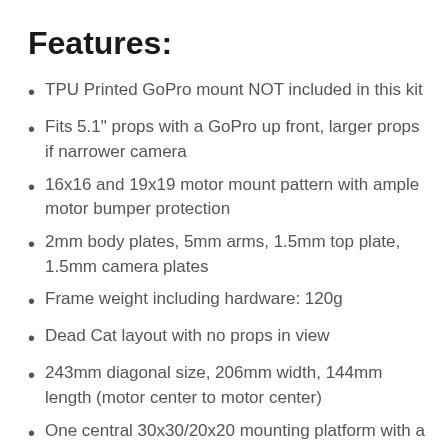Features:
TPU Printed GoPro mount NOT included in this kit
Fits 5.1" props with a GoPro up front, larger props if narrower camera
16x16 and 19x19 motor mount pattern with ample motor bumper protection
2mm body plates, 5mm arms, 1.5mm top plate, 1.5mm camera plates
Frame weight including hardware: 120g
Dead Cat layout with no props in view
243mm diagonal size, 206mm width, 144mm length (motor center to motor center)
One central 30x30/20x20 mounting platform with a secondary 20x20 platform in the rear